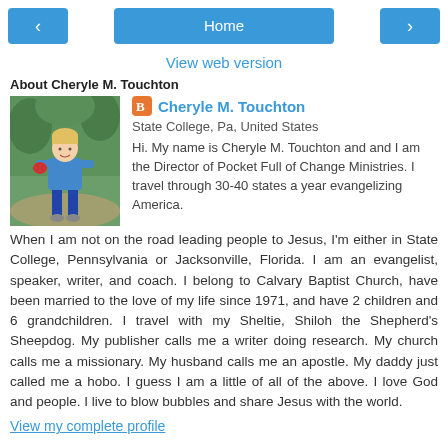< Home >
View web version
About Cheryle M. Touchton
[Figure (photo): Photo of Cheryle M. Touchton standing outdoors on a path, wearing a blue outfit, with green foliage in the background.]
Cheryle M. Touchton
State College, Pa, United States
Hi. My name is Cheryle M. Touchton and and I am the Director of Pocket Full of Change Ministries. I travel through 30-40 states a year evangelizing America.
When I am not on the road leading people to Jesus, I'm either in State College, Pennsylvania or Jacksonville, Florida. I am an evangelist, speaker, writer, and coach. I belong to Calvary Baptist Church, have been married to the love of my life since 1971, and have 2 children and 6 grandchildren. I travel with my Sheltie, Shiloh the Shepherd's Sheepdog. My publisher calls me a writer doing research. My church calls me a missionary. My husband calls me an apostle. My daddy just called me a hobo. I guess I am a little of all of the above. I love God and people. I live to blow bubbles and share Jesus with the world.
View my complete profile